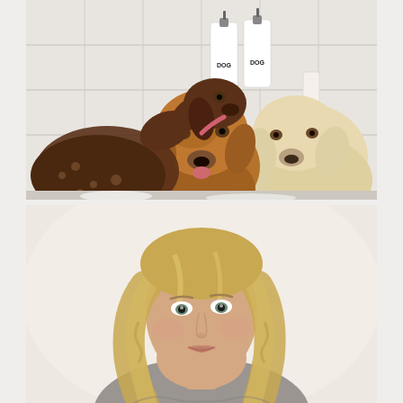[Figure (photo): Three dogs in a bathtub — a dark brown German Shorthaired Pointer licking a wet golden/red dog in the center, and a cream-colored Golden Retriever on the right. Two white pump bottles labeled DOG are on a shelf in the background.]
[Figure (photo): Close-up portrait of a young blonde woman with long wavy hair, looking at the camera. She is wearing a gray textured top. Background is a light cream/beige tone.]